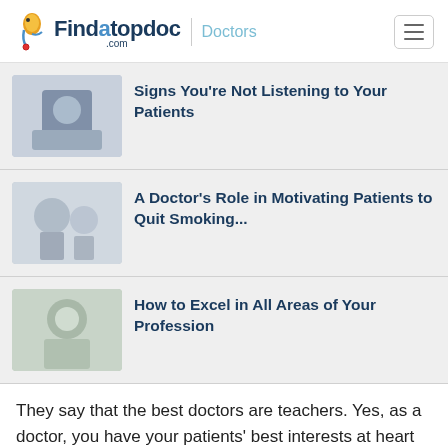Findatopdoc.com | Doctors
Signs You're Not Listening to Your Patients
A Doctor's Role in Motivating Patients to Quit Smoking...
How to Excel in All Areas of Your Profession
They say that the best doctors are teachers. Yes, as a doctor, you have your patients' best interests at heart and you want to help them be well, but at the same time, you should also teach them. It is your responsibility to teach them about their